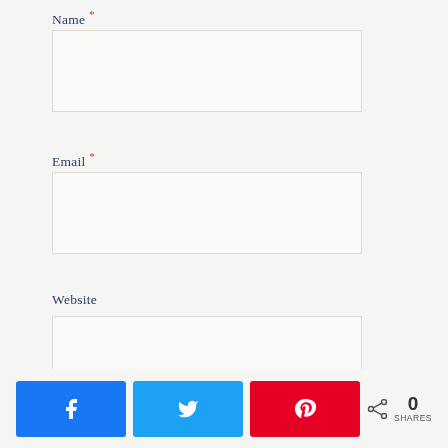Name *
Email *
Website
POST COMMENT
[Figure (infographic): Social share bar with Facebook, Twitter, and Pinterest buttons, plus a share icon with 0 SHARES count]